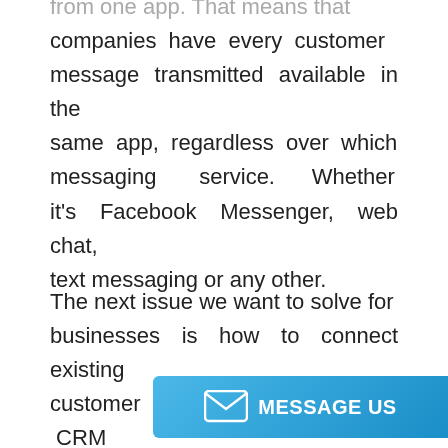from one app. That means that companies have every customer message transmitted available in the same app, regardless over which messaging service. Whether it's Facebook Messenger, web chat, text messaging or any other.
The next issue we want to solve for businesses is how to connect existing customer contacts from your CRM tool. With our simple all in one messaging service you get a full overview of the messaging conversation and reach them on their mobile. So, we're de... tool to connect the thismo messenger
[Figure (other): Blue gradient 'MESSAGE US' button with envelope icon in bottom right corner]